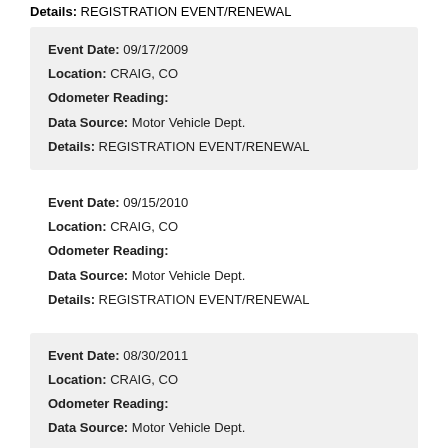Details: REGISTRATION EVENT/RENEWAL
Event Date: 09/17/2009
Location: CRAIG, CO
Odometer Reading:
Data Source: Motor Vehicle Dept.
Details: REGISTRATION EVENT/RENEWAL
Event Date: 09/15/2010
Location: CRAIG, CO
Odometer Reading:
Data Source: Motor Vehicle Dept.
Details: REGISTRATION EVENT/RENEWAL
Event Date: 08/30/2011
Location: CRAIG, CO
Odometer Reading:
Data Source: Motor Vehicle Dept.
Details: REGISTRATION EVENT/RENEWAL
Event Date: 09/19/2012